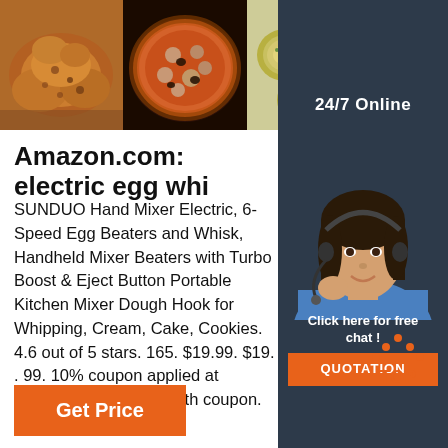[Figure (photo): Three food photos side by side: roasted chicken, seafood pizza, and baked egg cups/quiches]
[Figure (photo): Sidebar panel with '24/7 Online' label, a female customer service agent wearing a headset, 'Click here for free chat!' text, and an orange QUOTATION button]
Amazon.com: electric egg whi
SUNDUO Hand Mixer Electric, 6-Speed Egg Beaters and Whisk, Handheld Mixer Beaters with Turbo Boost & Eject Button Portable Kitchen Mixer Dough Hook for Whipping, Cream, Cake, Cookies. 4.6 out of 5 stars. 165. $19.99. $19. . 99. 10% coupon applied at checkout. Save 10% with coupon.
[Figure (logo): Orange dotted 'TOP' logo with upward arrow]
Get Price